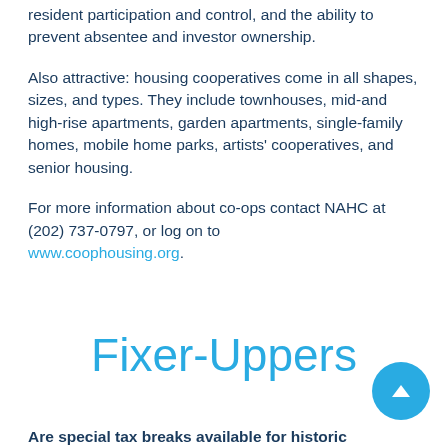resident participation and control, and the ability to prevent absentee and investor ownership.
Also attractive: housing cooperatives come in all shapes, sizes, and types. They include townhouses, mid-and high-rise apartments, garden apartments, single-family homes, mobile home parks, artists' cooperatives, and senior housing.
For more information about co-ops contact NAHC at (202) 737-0797, or log on to www.coophousing.org.
Fixer-Uppers
Are special tax breaks available for historic